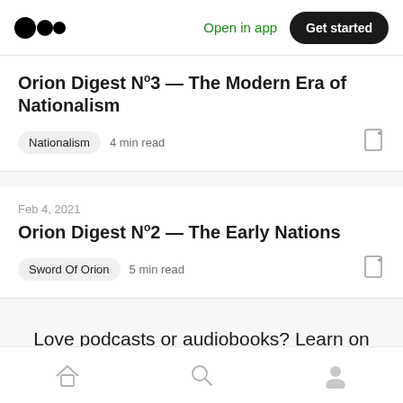Medium logo | Open in app | Get started
Orion Digest №3 — The Modern Era of Nationalism
Nationalism · 4 min read
Feb 4, 2021
Orion Digest №2 — The Early Nations
Sword Of Orion · 5 min read
Love podcasts or audiobooks? Learn on the go with our new app.
Home | Search | Profile